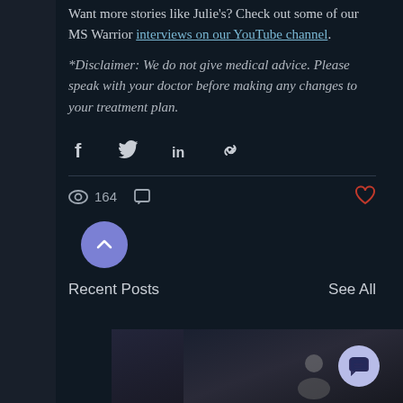Want more stories like Julie's? Check out some of our MS Warrior interviews on our YouTube channel.
*Disclaimer: We do not give medical advice. Please speak with your doctor before making any changes to your treatment plan.
[Figure (infographic): Social sharing icons: Facebook, Twitter, LinkedIn, and link/copy icons in a row]
[Figure (infographic): Stats bar: eye icon with 164 views, comment icon, and heart/like button on the right]
[Figure (infographic): Purple circular scroll-up button with chevron icon]
Recent Posts
See All
[Figure (photo): Bottom preview thumbnails showing blog post images including a man with hand on his head]
[Figure (infographic): Light purple circular chat/comment button in bottom right corner]